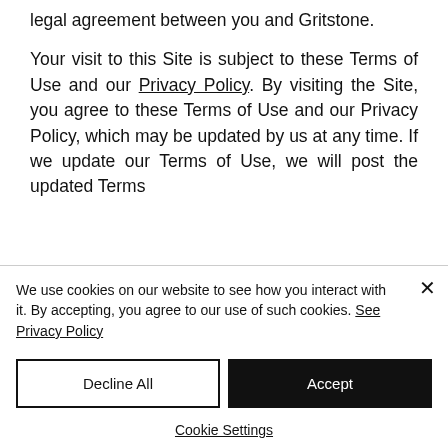legal agreement between you and Gritstone.
Your visit to this Site is subject to these Terms of Use and our Privacy Policy. By visiting the Site, you agree to these Terms of Use and our Privacy Policy, which may be updated by us at any time. If we update our Terms of Use, we will post the updated Terms...
We use cookies on our website to see how you interact with it. By accepting, you agree to our use of such cookies. See Privacy Policy
Decline All
Accept
Cookie Settings